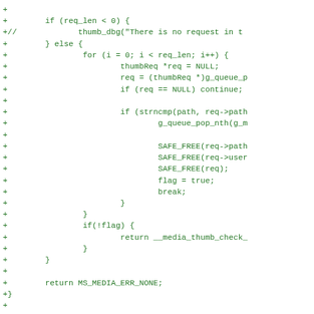Code diff showing C code for media thumbnail queue handling, including if/else blocks, for loop, SAFE_FREE calls, flag logic, and function signature for __media_thumb_pop_raw_data_req_queue